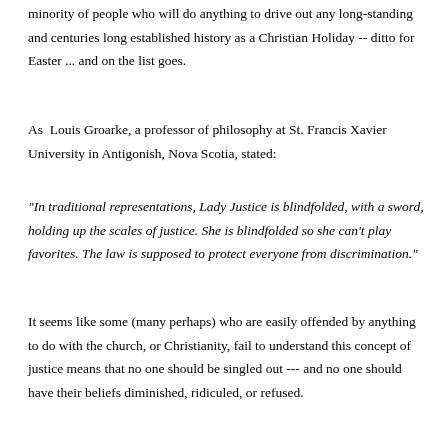minority of people who will do anything to drive out any long-standing and centuries long established history as a Christian Holiday -- ditto for Easter ... and on the list goes.
As Louis Groarke, a professor of philosophy at St. Francis Xavier University in Antigonish, Nova Scotia, stated:
"In traditional representations, Lady Justice is blindfolded, with a sword, holding up the scales of justice. She is blindfolded so she can't play favorites. The law is supposed to protect everyone from discrimination."
It seems like some (many perhaps) who are easily offended by anything to do with the church, or Christianity, fail to understand this concept of justice means that no one should be singled out --- and no one should have their beliefs diminished, ridiculed, or refused.